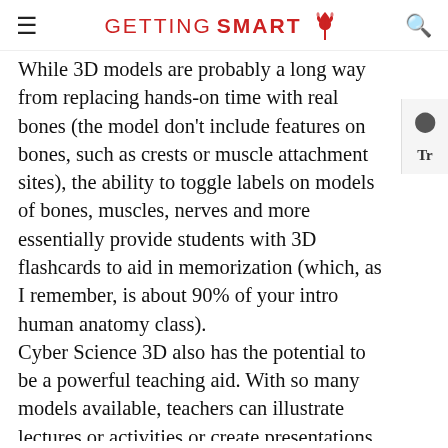GETTING SMART
While 3D models are probably a long way from replacing hands-on time with real bones (the model don't include features on bones, such as crests or muscle attachment sites), the ability to toggle labels on models of bones, muscles, nerves and more essentially provide students with 3D flashcards to aid in memorization (which, as I remember, is about 90% of your intro human anatomy class). Cyber Science 3D also has the potential to be a powerful teaching aid. With so many models available, teachers can illustrate lectures or activities or create presentations that “zoom” through models. Unfacilitated exploration of the models by students, while likely fun, is